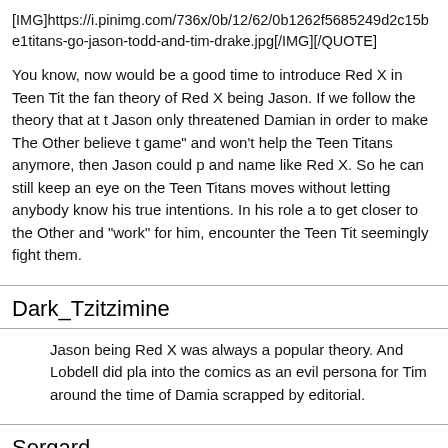[IMG]https://i.pinimg.com/736x/0b/12/62/0b1262f5685249d2c15be1titans-go-jason-todd-and-tim-drake.jpg[/IMG][/QUOTE]
You know, now would be a good time to introduce Red X in Teen Titans Go!, with the fan theory of Red X being Jason. If we follow the theory that at the end Jason only threatened Damian in order to make The Other believe that he's "in the game" and won't help the Teen Titans anymore, then Jason could pick up a costume and name like Red X. So he can still keep an eye on the Teen Titans and their moves without letting anybody know his true intentions. In his role as Red X, he can to get closer to the Other and "work" for him, encounter the Teen Titans and seemingly fight them.
Dark_Tzitzimine
Jason being Red X was always a popular theory. And Lobdell did plan to bring it into the comics as an evil persona for Tim around the time of Damian's death, but scrapped by editorial.
Sergard
[URL="https://twitter.com/zumaon/status/1092142613233229824"]@